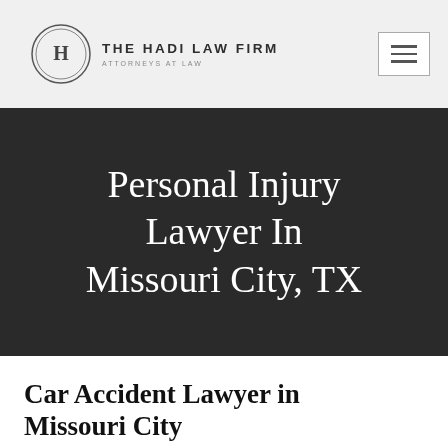THE HADI LAW FIRM ATTORNEYS AT LAW
Personal Injury Lawyer In Missouri City, TX
Car Accident Lawyer in Missouri City